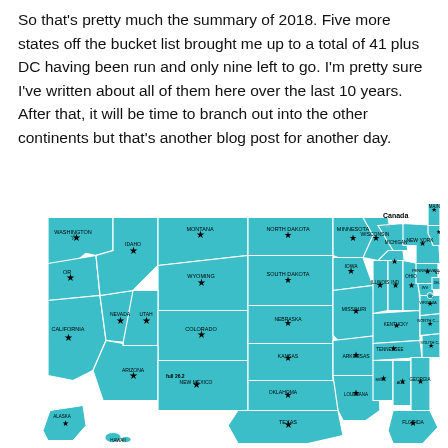So that's pretty much the summary of 2018.  Five more states off the bucket list brought me up to a total of 41 plus DC having been run and only nine left to go.  I'm pretty sure I've written about all of them here over the last 10 years.  After that, it will be time to branch out into the other continents but that's another blog post for another day.
[Figure (map): Map of the United States with visited states highlighted in teal/turquoise. States that have been run are marked with a star icon. A note on New Mexico says 'full 26.2'. Canada is labeled in the upper right area. Most states are colored teal indicating they have been visited/run.]